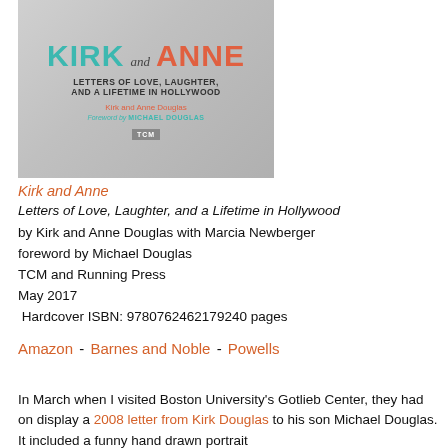[Figure (illustration): Book cover of 'Kirk and Anne: Letters of Love, Laughter, and a Lifetime in Hollywood' by Kirk and Anne Douglas with foreword by Michael Douglas, published by TCM.]
Kirk and Anne
Letters of Love, Laughter, and a Lifetime in Hollywood
by Kirk and Anne Douglas with Marcia Newberger
foreword by Michael Douglas
TCM and Running Press
May 2017
 Hardcover ISBN: 9780762462179240 pages
Amazon - Barnes and Noble - Powells
In March when I visited Boston University's Gotlieb Center, they had on display a 2008 letter from Kirk Douglas to his son Michael Douglas. It included a funny hand drawn portrait